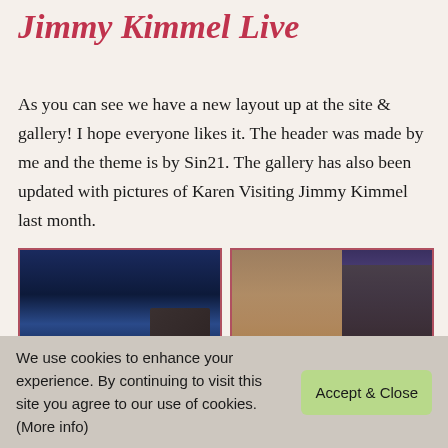Jimmy Kimmel Live
As you can see we have a new layout up at the site & gallery! I hope everyone likes it. The header was made by me and the theme is by Sin21. The gallery has also been updated with pictures of Karen Visiting Jimmy Kimmel last month.
[Figure (photo): Two photos in a grid: left photo shows a woman in a gold feathered outfit seated on a talk show set with city lights in the background; right photo shows a woman in a gold feathered dress posing with a man in a dark suit. Below are two partially visible photos.]
We use cookies to enhance your experience. By continuing to visit this site you agree to our use of cookies. (More info)